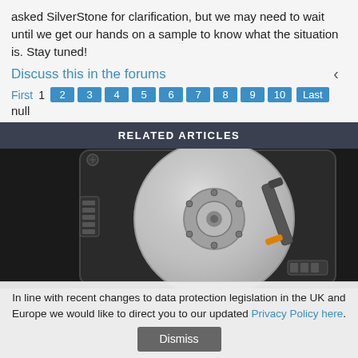asked SilverStone for clarification, but we may need to wait until we get our hands on a sample to know what the situation is. Stay tuned!
Discuss this in the forums
First  1  2  3  4  5  6  7  8  9  10  Last
null
RELATED ARTICLES
[Figure (photo): Close-up photo of an open hard disk drive (HDD) showing the magnetic platter and read/write arm mechanism]
In line with recent changes to data protection legislation in the UK and Europe we would like to direct you to our updated Privacy Policy here.
Dismiss